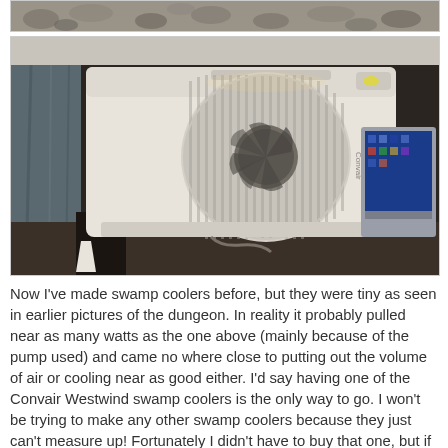[Figure (photo): Top strip of a photo showing gravel/rocks on the ground, partially cropped]
[Figure (photo): A large white Convair Westwind swamp cooler unit sitting indoors on a dark floor. It has a large circular fan grille on the front. To the left is a curtain, to the right is a laptop computer with a blue screen showing a desktop. Various items are visible in the background.]
Now I've made swamp coolers before, but they were tiny as seen in earlier pictures of the dungeon. In reality it probably pulled near as many watts as the one above (mainly because of the pump used) and came no where close to putting out the volume of air or cooling near as good either. I'd say having one of the Convair Westwind swamp coolers is the only way to go. I won't be trying to make any other swamp coolers because they just can't measure up! Fortunately I didn't have to buy that one, but if you plan to